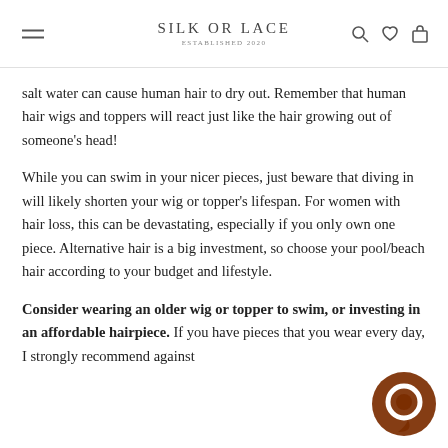SILK OR LACE — ESTABLISHED 2020
salt water can cause human hair to dry out. Remember that human hair wigs and toppers will react just like the hair growing out of someone's head!
While you can swim in your nicer pieces, just beware that diving in will likely shorten your wig or topper's lifespan. For women with hair loss, this can be devastating, especially if you only own one piece. Alternative hair is a big investment, so choose your pool/beach hair according to your budget and lifestyle.
Consider wearing an older wig or topper to swim, or investing in an affordable hairpiece. If you have pieces that you wear every day, I strongly recommend against